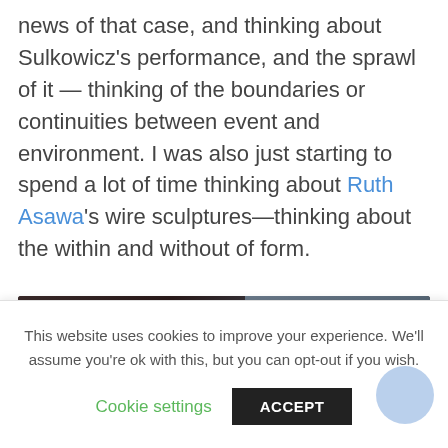news of that case, and thinking about Sulkowicz's performance, and the sprawl of it — thinking of the boundaries or continuities between event and environment. I was also just starting to spend a lot of time thinking about Ruth Asawa's wire sculptures—thinking about the within and without of form.
[Figure (screenshot): Embedded video thumbnail showing Emma Sulkowicz: 'Carry That Wei...' with channel icon (crown logo) on dark background]
This website uses cookies to improve your experience. We'll assume you're ok with this, but you can opt-out if you wish.
Cookie settings   ACCEPT